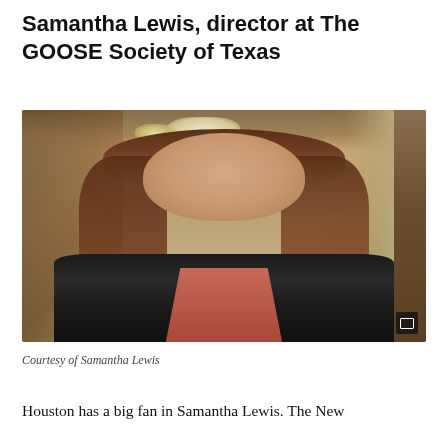Samantha Lewis, director at The GOOSE Society of Texas
[Figure (photo): Portrait photo of Samantha Lewis, a woman with long auburn hair wearing a black blazer and salmon/coral top, photographed in a hallway with warm lighting.]
Courtesy of Samantha Lewis
Houston has a big fan in Samantha Lewis. The New